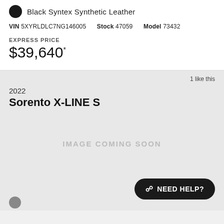Black Syntex Synthetic Leather
VIN 5XYRLDLC7NG146005  Stock 47059  Model 73432
EXPRESS PRICE
$39,640*
1 like this
2022
Sorento X-LINE S
IMAGE COMING SOON
NEED HELP?